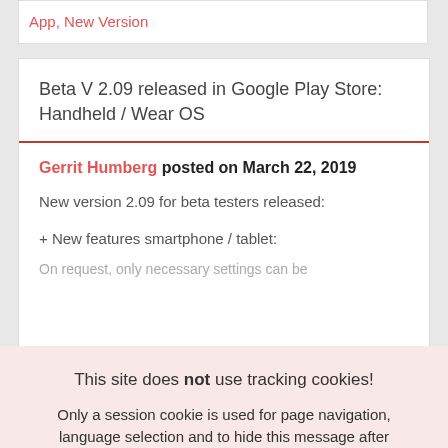App, New Version
Beta V 2.09 released in Google Play Store: Handheld / Wear OS
Gerrit Humberg posted on March 22, 2019
New version 2.09 for beta testers released:
+ New features smartphone / tablet:
On request, only necessary settings can be
This site does not use tracking cookies!
Only a session cookie is used for page navigation, language selection and to hide this message after you read it.
OK
SHOW PRIVATE POLICY